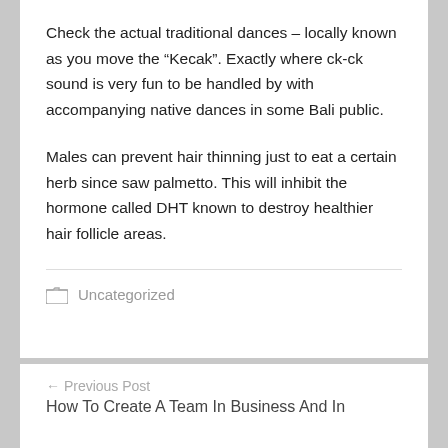Check the actual traditional dances – locally known as you move the “Kecak”. Exactly where ck-ck sound is very fun to be handled by with accompanying native dances in some Bali public.
Males can prevent hair thinning just to eat a certain herb since saw palmetto. This will inhibit the hormone called DHT known to destroy healthier hair follicle areas.
Uncategorized
← Previous Post
How To Create A Team In Business And In